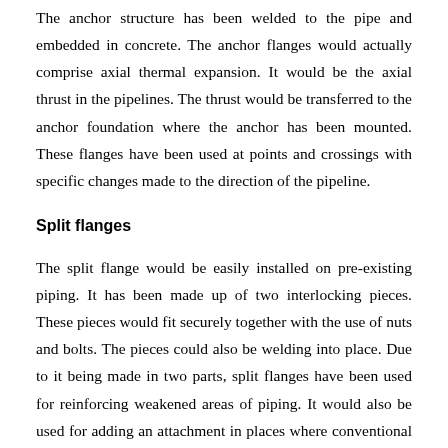The anchor structure has been welded to the pipe and embedded in concrete. The anchor flanges would actually comprise axial thermal expansion. It would be the axial thrust in the pipelines. The thrust would be transferred to the anchor foundation where the anchor has been mounted. These flanges have been used at points and crossings with specific changes made to the direction of the pipeline.
Split flanges
The split flange would be easily installed on pre-existing piping. It has been made up of two interlocking pieces. These pieces would fit securely together with the use of nuts and bolts. The pieces could also be welding into place. Due to it being made in two parts, split flanges have been used for reinforcing weakened areas of piping. It would also be used for adding an attachment in places where conventional flanges cannot proceed.